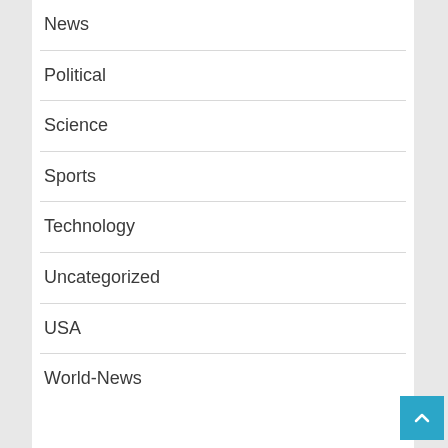News
Political
Science
Sports
Technology
Uncategorized
USA
World-News